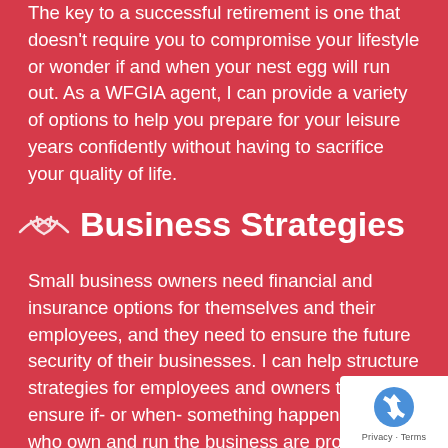The key to a successful retirement is one that doesn't require you to compromise your lifestyle or wonder if and when your nest egg will run out. As a WFGIA agent, I can provide a variety of options to help you prepare for your leisure years confidently without having to sacrifice your quality of life.
Business Strategies
Small business owners need financial and insurance options for themselves and their employees, and they need to ensure the future security of their businesses. I can help structure strategies for employees and owners to help ensure if- or when- something happens, those who own and run the business are protected.